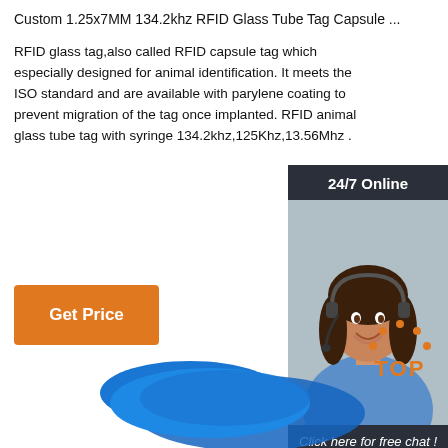Custom 1.25x7MM 134.2khz RFID Glass Tube Tag Capsule ...
RFID glass tag,also called RFID capsule tag which especially designed for animal identification. It meets the ISO standard and are available with parylene coating to prevent migration of the tag once implanted. RFID animal glass tube tag with syringe 134.2khz,125Khz,13.56Mhz .
[Figure (other): Orange 'Get Price' button]
[Figure (other): Customer service sidebar with '24/7 Online' header, photo of woman with headset, 'Click here for free chat!' text, and orange QUOTATION button]
[Figure (other): Orange 'TOP' button with dot arc above text]
[Figure (other): Blue RFID wristband/product partially visible at bottom of page]